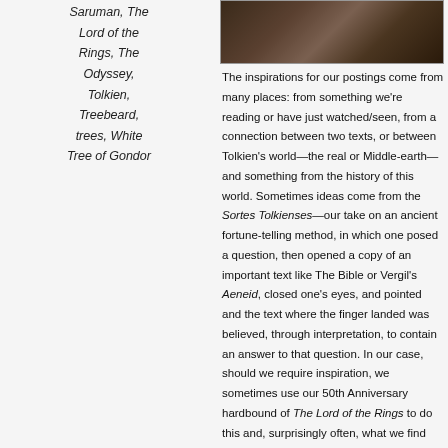[Figure (photo): Dark photograph, appears to show a rocky or textured surface]
Saruman, The Lord of the Rings, The Odyssey, Tolkien, Treebeard, trees, White Tree of Gondor
The inspirations for our postings come from many places: from something we're reading or have just watched/seen, from a connection between two texts, or between Tolkien's world—the real or Middle-earth—and something from the history of this world. Sometimes ideas come from the Sortes Tolkienses—our take on an ancient fortune-telling method, in which one posed a question, then opened a copy of an important text like The Bible or Vergil's Aeneid, closed one's eyes, and pointed and the text where the finger landed was believed, through interpretation, to contain an answer to that question. In our case, should we require inspiration, we sometimes use our 50th Anniversary hardbound of The Lord of the Rings to do this and, surprisingly often, what we find gives us an idea about what to write.
In the case of this posting, however, it was more of a *we were working on something else entirely and then